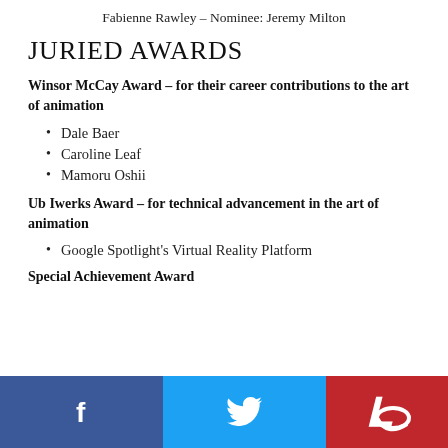Fabienne Rawley – Nominee: Jeremy Milton
JURIED AWARDS
Winsor McCay Award – for their career contributions to the art of animation
Dale Baer
Caroline Leaf
Mamoru Oshii
Ub Iwerks Award – for technical advancement in the art of animation
Google Spotlight's Virtual Reality Platform
Special Achievement Award
Social media footer with Facebook, Twitter, and logo icons